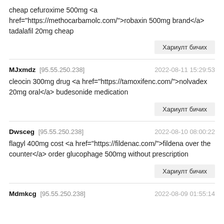cheap cefuroxime 500mg <a href="https://methocarbamolc.com/">robaxin 500mg brand</a> tadalafil 20mg cheap
Хариулт бичих
MJxmdz [95.55.250.238]  2022-08-11 15:29:53
cleocin 300mg drug <a href="https://tamoxifenc.com/">nolvadex 20mg oral</a> budesonide medication
Хариулт бичих
Dwsceg [95.55.250.238]  2022-08-10 08:00:22
flagyl 400mg cost <a href="https://fildenac.com/">fildena over the counter</a> order glucophage 500mg without prescription
Хариулт бичих
Mdmkcg [95.55.250.238]  2022-08-09 01:55:14